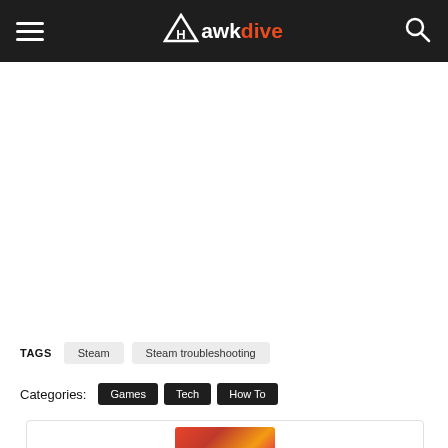Hawkdive
[Figure (other): Advertisement / blank white space area]
TAGS   Steam   Steam troubleshooting
Categories:  Games  Tech  How To
[Figure (photo): Partial view of a thumbnail image at bottom of page]